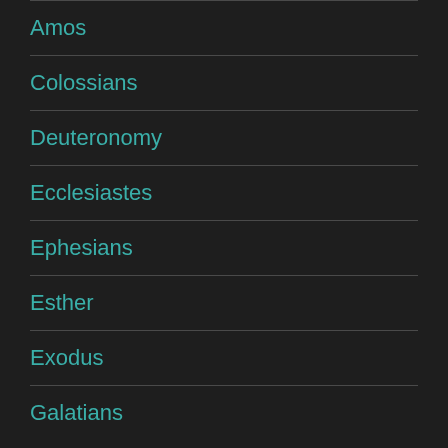Amos
Colossians
Deuteronomy
Ecclesiastes
Ephesians
Esther
Exodus
Galatians